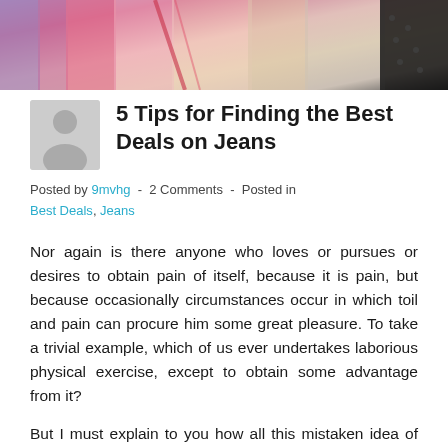[Figure (photo): Partial photo of colorful clothing/scarves at top of page, partially cropped]
5 Tips for Finding the Best Deals on Jeans
Posted by 9mvhg  -  2 Comments  -  Posted in Best Deals, Jeans
Nor again is there anyone who loves or pursues or desires to obtain pain of itself, because it is pain, but because occasionally circumstances occur in which toil and pain can procure him some great pleasure. To take a trivial example, which of us ever undertakes laborious physical exercise, except to obtain some advantage from it?
But I must explain to you how all this mistaken idea of denouncing pleasure and praising pain was born and I will give you a complete account of the system, and expound the actual teachings of the great explorer of the truth, the master-builder of human happiness. No one rejects, dislikes,